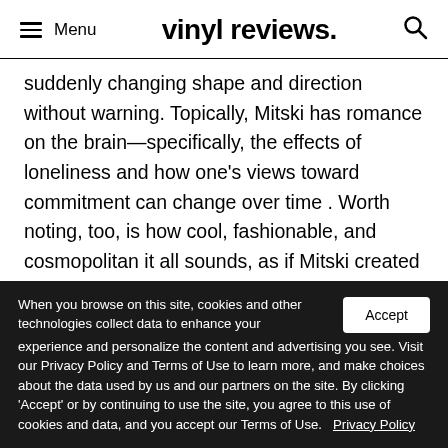Menu | vinyl reviews. | [search icon]
suddenly changing shape and direction without warning. Topically, Mitski has romance on the brain—specifically, the effects of loneliness and how one's views toward commitment can change over time . Worth noting, too, is how cool, fashionable, and cosmopolitan it all sounds, as if Mitski created a soundtrack in search of a Sofia Coppola film.
When you browse on this site, cookies and other technologies collect data to enhance your experience and personalize the content and advertising you see. Visit our Privacy Policy and Terms of Use to learn more, and make choices about the data used by us and our partners on the site. By clicking 'Accept' or by continuing to use the site, you agree to this use of cookies and data, and you accept our Terms of Use. Privacy Policy